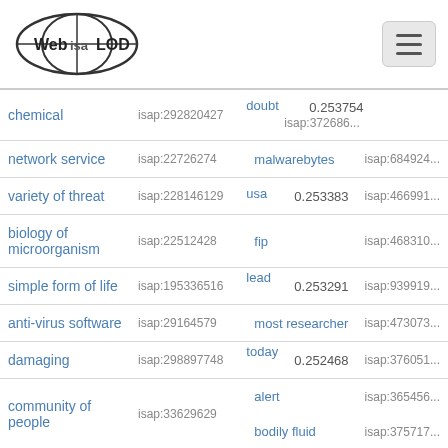[Figure (logo): Web ISA LOD logo with globe icon]
| Term | ISAP ID | Score / Keyword | ISAP ID 2 |
| --- | --- | --- | --- |
| chemical | isap:292820427 | 0.253754 / doubt | isap:372686... |
| network service | isap:22726274 | malwarebytes | isap:684924... |
| variety of threat | isap:228146129 | 0.253383 / usa | isap:466991... |
| biology of microorganism | isap:22512428 | fip | isap:468310... |
| simple form of life | isap:195336516 | 0.253291 / lead | isap:939919... |
| anti-virus software | isap:29164579 | most researcher | isap:473073... |
| damaging | isap:298897748 | 0.252468 / today | isap:376051... |
| community of people | isap:33629629 | alert / bodily fluid | isap:365456... / isap:375717... |
| repair | isap:15370029 | contact | isap:386654... |
| virus infection | isap:337031840 | 0.251395 / ... | isap:152017... |